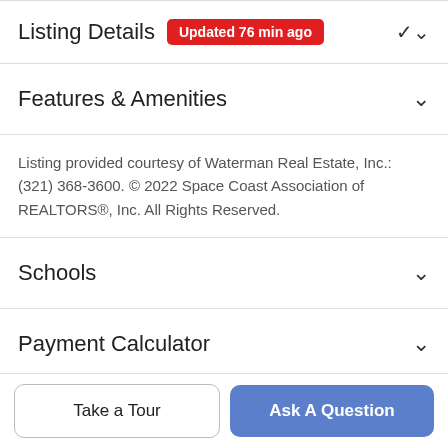Listing Details  Updated 76 min ago
Features & Amenities
Listing provided courtesy of Waterman Real Estate, Inc.: (321) 368-3600. © 2022 Space Coast Association of REALTORS®, Inc. All Rights Reserved.
Schools
Payment Calculator
Contact Agent
Take a Tour
Ask A Question